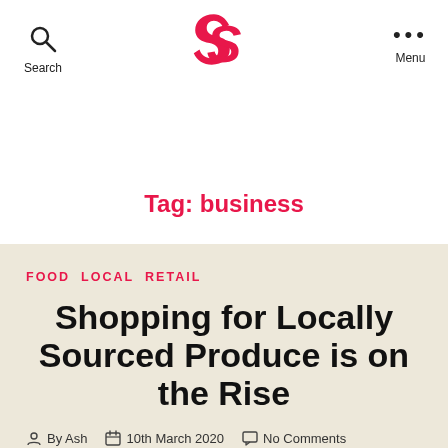Search | S Logo | Menu
Tag: business
FOOD  LOCAL  RETAIL
Shopping for Locally Sourced Produce is on the Rise
By Ash  10th March 2020  No Comments